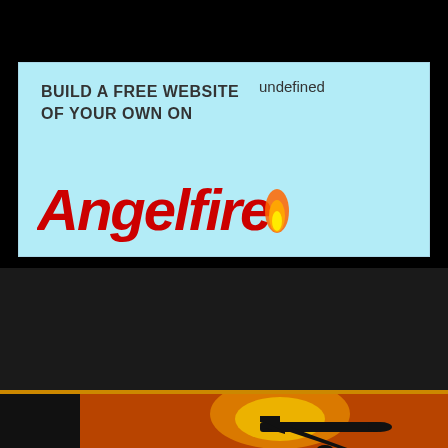[Figure (screenshot): Angelfire advertisement banner on light blue background with text BUILD A FREE WEBSITE OF YOUR OWN ON and the Angelfire logo in red italic with flame icon]
undefined
[Figure (screenshot): Dark search bar area with orange text reading: About Buy Airline Tickets Now Or Wait, with a search icon on the left and an orange horizontal divider line below]
[Figure (photo): Silhouette of an airplane taking off against a dramatic orange sunset sky with large sun disk visible, dark background on left side]